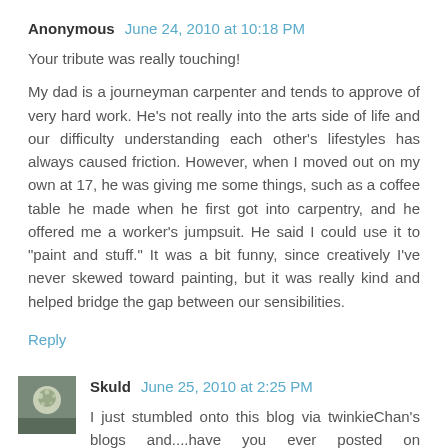Anonymous June 24, 2010 at 10:18 PM
Your tribute was really touching!

My dad is a journeyman carpenter and tends to approve of very hard work. He's not really into the arts side of life and our difficulty understanding each other's lifestyles has always caused friction. However, when I moved out on my own at 17, he was giving me some things, such as a coffee table he made when he first got into carpentry, and he offered me a worker's jumpsuit. He said I could use it to "paint and stuff." It was a bit funny, since creatively I've never skewed toward painting, but it was really kind and helped bridge the gap between our sensibilities.
Reply
Skuld June 25, 2010 at 2:25 PM
I just stumbled onto this blog via twinkieChan's blogs and....have you ever posted on craftster.org? You seem so familiar....